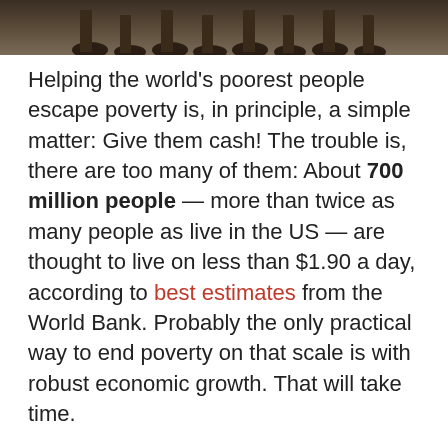[Figure (photo): Bottom portion of a photo showing people's feet and legs standing on dirt ground]
Helping the world's poorest people escape poverty is, in principle, a simple matter: Give them cash! The trouble is, there are too many of them: About 700 million people — more than twice as many people as live in the US — are thought to live on less than $1.90 a day, according to best estimates from the World Bank. Probably the only practical way to end poverty on that scale is with robust economic growth. That will take time.

In the meantime, though, unless we